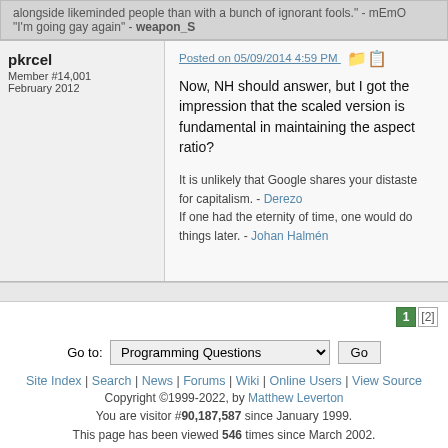alongside likeminded people than with a bunch of ignorant fools." - mEmO
"I'm going gay again" - weapon_S
pkrcel
Member #14,001
February 2012
Posted on 05/09/2014 4:59 PM
Now, NH should answer, but I got the impression that the scaled version is fundamental in maintaining the aspect ratio?
It is unlikely that Google shares your distaste for capitalism. - Derezo
If one had the eternity of time, one would do things later. - Johan Halmén
Go to: Programming Questions  Go
Site Index | Search | News | Forums | Wiki | Online Users | View Source
Copyright ©1999-2022, by Matthew Leverton
You are visitor #90,187,587 since January 1999.
This page has been viewed 546 times since March 2002.
Page generated in 0.040881 seconds.